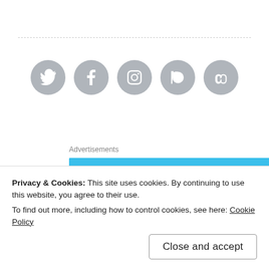[Figure (illustration): Row of five social media icon buttons (Twitter, Facebook, Instagram, Goodreads, chain/link) as grey circles with white icons]
Advertisements
[Figure (illustration): Advertisement banner with light blue background showing three illustrated circular icons: a spiral notebook, a person wearing VR headset, and a checklist/form, with sparkle decorations]
Privacy & Cookies: This site uses cookies. By continuing to use this website, you agree to their use.
To find out more, including how to control cookies, see here: Cookie Policy
Close and accept